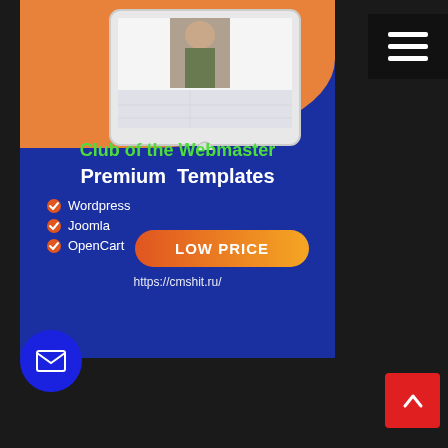[Figure (infographic): Ad banner for Club of the Webmaster Premium Templates featuring Wordpress, Joomla, OpenCart, tablet mockup, LOW PRICE button, and URL https://cmshit.ru/]
Club of the Webmaster
Premium Templates
Wordpress
Joomla
OpenCart
LOW PRICE
https://cmshit.ru/